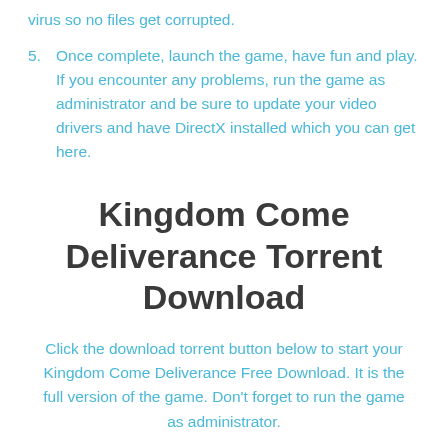virus so no files get corrupted.
5. Once complete, launch the game, have fun and play. If you encounter any problems, run the game as administrator and be sure to update your video drivers and have DirectX installed which you can get here.
Kingdom Come Deliverance Torrent Download
Click the download torrent button below to start your Kingdom Come Deliverance Free Download. It is the full version of the game. Don't forget to run the game as administrator.